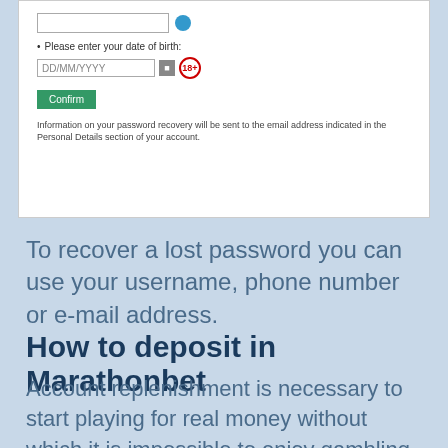[Figure (screenshot): Screenshot of a password recovery form with a text input, a date of birth field (DD/MM/YYYY), a calendar icon, an 18+ icon, a green Confirm button, and informational text about password recovery.]
To recover a lost password you can use your username, phone number or e-mail address.
How to deposit in Marathonbet
Account replenishment is necessary to start playing for real money without which it is impossible to enjoy gambling in full. Depositing becomes available after the complete authorization and data confirmation.
Indian users can make deposits in Indian rupees in the following ways::